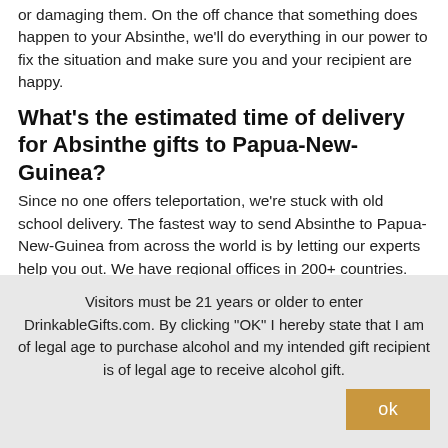or damaging them. On the off chance that something does happen to your Absinthe, we'll do everything in our power to fix the situation and make sure you and your recipient are happy.
What's the estimated time of delivery for Absinthe gifts to Papua-New-Guinea?
Since no one offers teleportation, we're stuck with old school delivery. The fastest way to send Absinthe to Papua-New-Guinea from across the world is by letting our experts help you out. We have regional offices in 200+ countries. And our team at Papua-New-Guinea can get your Absinthe gift to your favorite people in as little as 4 - 5 days. With a flat rate, no customs, and quality guarantee, ordering Absinthe with us is a no brainer!
Visitors must be 21 years or older to enter DrinkableGifts.com. By clicking "OK" I hereby state that I am of legal age to purchase alcohol and my intended gift recipient is of legal age to receive alcohol gift.